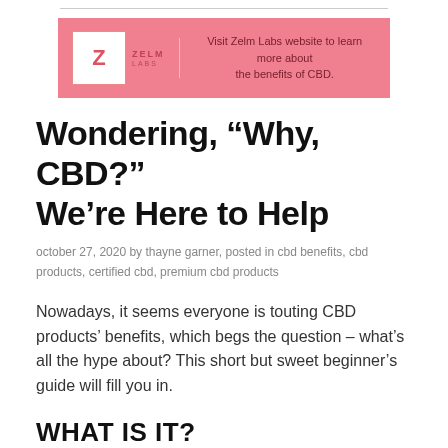Visit Zelm Labs website to learn more about the benefits of CBD.
Wondering, “Why, CBD?” We’re Here to Help
october 27, 2020 by thayne garner, posted in cbd benefits, cbd products, certified cbd, premium cbd products
Nowadays, it seems everyone is touting CBD products' benefits, which begs the question – what’s all the hype about? This short but sweet beginner’s guide will fill you in.
WHAT IS IT?